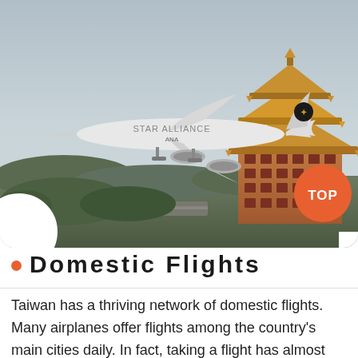[Figure (photo): A Star Alliance ANA airplane in flight over a city with a traditional Chinese pagoda building visible in the lower right corner. An orange 'TOP' badge overlays the bottom right of the image.]
• Domestic Flights
Taiwan has a thriving network of domestic flights. Many airplanes offer flights among the country's main cities daily. In fact, taking a flight has almost become as